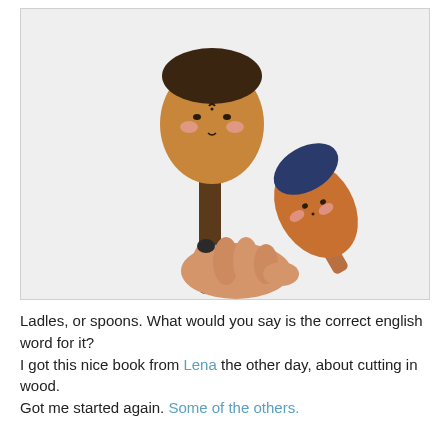[Figure (photo): A hand holding two wooden spoons/ladles with hand-painted kawaii faces. The larger spoon has a dark-topped head with pink cheeks and a crescent moon marking. The smaller spoon is tilted sideways with a navy blue top and rosy cheeks. The background is light grey/white.]
Ladles, or spoons. What would you say is the correct english word for it?
I got this nice book from Lena the other day, about cutting in wood.
Got me started again. Some of the others.